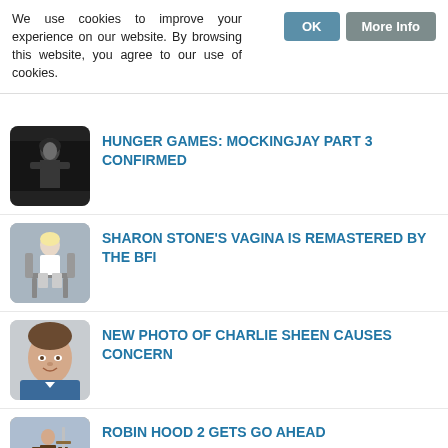We use cookies to improve your experience on our website. By browsing this website, you agree to our use of cookies.
HUNGER GAMES: MOCKINGJAY PART 3 CONFIRMED
SHARON STONE'S VAGINA IS REMASTERED BY THE BFI
NEW PHOTO OF CHARLIE SHEEN CAUSES CONCERN
ROBIN HOOD 2 GETS GO AHEAD
JUPITER ASCENDING 2 'WILL HAVE SMALLER BUDGET'